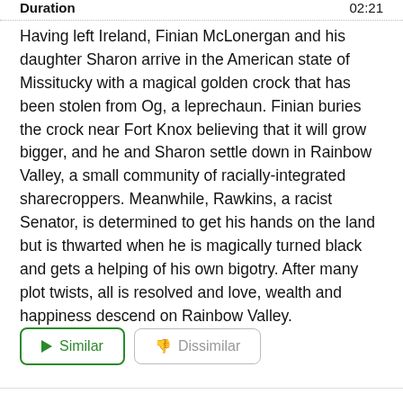Duration   02:21
Having left Ireland, Finian McLonergan and his daughter Sharon arrive in the American state of Missitucky with a magical golden crock that has been stolen from Og, a leprechaun. Finian buries the crock near Fort Knox believing that it will grow bigger, and he and Sharon settle down in Rainbow Valley, a small community of racially-integrated sharecroppers. Meanwhile, Rawkins, a racist Senator, is determined to get his hands on the land but is thwarted when he is magically turned black and gets a helping of his own bigotry. After many plot twists, all is resolved and love, wealth and happiness descend on Rainbow Valley.
Similar
Dissimilar